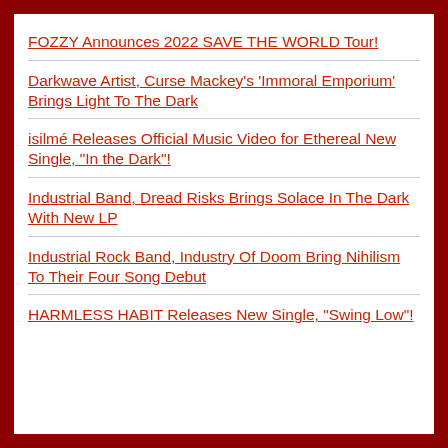FOZZY Announces 2022 SAVE THE WORLD Tour!
Darkwave Artist, Curse Mackey’s ‘Immoral Emporium’ Brings Light To The Dark
isilmé Releases Official Music Video for Ethereal New Single, “In the Dark”!
Industrial Band, Dread Risks Brings Solace In The Dark With New LP
Industrial Rock Band, Industry Of Doom Bring Nihilism To Their Four Song Debut
HARMLESS HABIT Releases New Single, “Swing Low”!